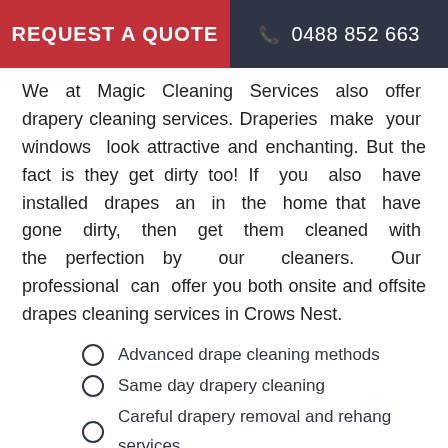REQUEST A QUOTE   0488 852 663
We at Magic Cleaning Services also offer drapery cleaning services. Draperies make your windows look attractive and enchanting. But the fact is they get dirty too! If you also have installed drapes an in the home that have gone dirty, then get them cleaned with the perfection by our cleaners. Our professional can offer you both onsite and offsite drapes cleaning services in Crows Nest.
Advanced drape cleaning methods
Same day drapery cleaning
Careful drapery removal and rehang services
Onsite and Offsite drapery cleaning services
[Figure (photo): Magic Cleaning Services logo overlaid on a photo of curtains/drapes being cleaned, showing teal/blue fabric and dark drapes in background]